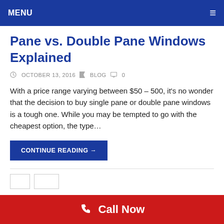MENU
Pane vs. Double Pane Windows Explained
OCTOBER 13, 2016   BLOG   0
With a price range varying between $50 – 500, it's no wonder that the decision to buy single pane or double pane windows is a tough one. While you may be tempted to go with the cheapest option, the type…
CONTINUE READING →
Call Now